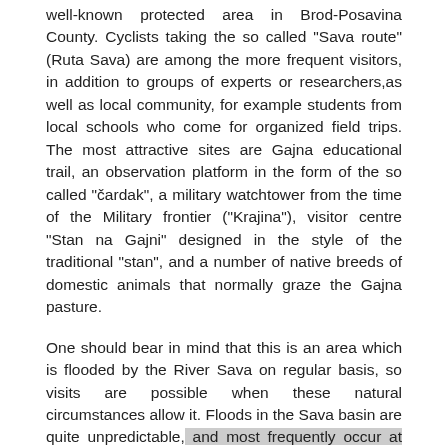well-known protected area in Brod-Posavina County. Cyclists taking the so called "Sava route" (Ruta Sava) are among the more frequent visitors, in addition to groups of experts or researchers,as well as local community, for example students from local schools who come for organized field trips. The most attractive sites are Gajna educational trail, an observation platform in the form of the so called "čardak", a military watchtower from the time of the Military frontier ("Krajina"), visitor centre "Stan na Gajni" designed in the style of the traditional "stan", and a number of native breeds of domestic animals that normally graze the Gajna pasture.
One should bear in mind that this is an area which is flooded by the River Sava on regular basis, so visits are possible when these natural circumstances allow it. Floods in the Sava basin are quite unpredictable, and most frequently occur at Gajna, specifically in the period between November and April. Visitors should expect trails